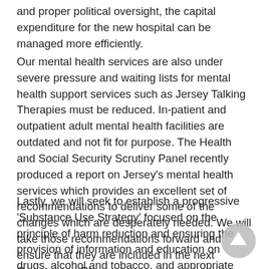and proper political oversight, the capital expenditure for the new hospital can be managed more efficiently.
Our mental health services are also under severe pressure and waiting lists for mental health support services such as Jersey Talking Therapies must be reduced. In-patient and outpatient adult mental health facilities are outdated and not fit for purpose. The Health and Social Security Scrutiny Panel recently produced a report on Jersey's mental health services which provides an excellent set of recommendations to deliver some of the changes which are desperately needed. We will take those recommendations forward and ensure that they are included in the next Government Plan as an urgent priority.
Lastly, we will seek to establish a progressive 'Substance Use Strategy' focused on the principle of harm reduction and ensuring the provision of information and education on drugs, alcohol and tobacco, and appropriate health care for those with